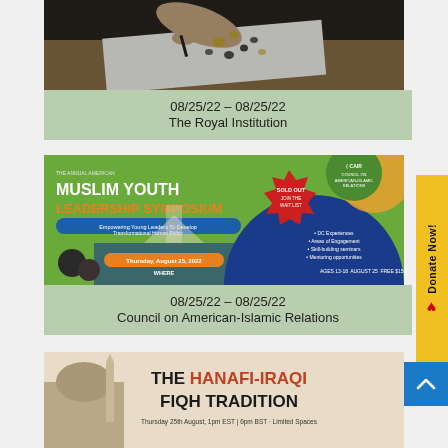[Figure (photo): Person drawing or painting on white paper, dark overhead view]
08/25/22 – 08/25/22
The Royal Institution
[Figure (photo): CAIR Muslim Youth Leadership Symposium promotional banner. Green, blue, orange design with US Capitol building. Text: Sold Out - Join the Wait List. Thursday, August 25, 2022. Ages 13-18. CAIR logo.]
08/25/22 – 08/25/22
Council on American-Islamic Relations
[Figure (photo): The Hanafi-Iraqi Fiqh Tradition event flyer. Text: THE HANAFI-IRAQI FIQH TRADITION. Thursday 25th August, 1pm EST | 6pm BST. Limited Spaces.]